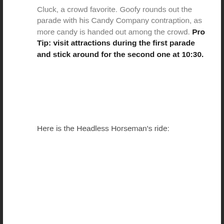Cluck, a crowd favorite. Goofy rounds out the parade with his Candy Company contraption, as more candy is handed out among the crowd. Pro Tip: visit attractions during the first parade and stick around for the second one at 10:30.
Here is the Headless Horseman's ride: